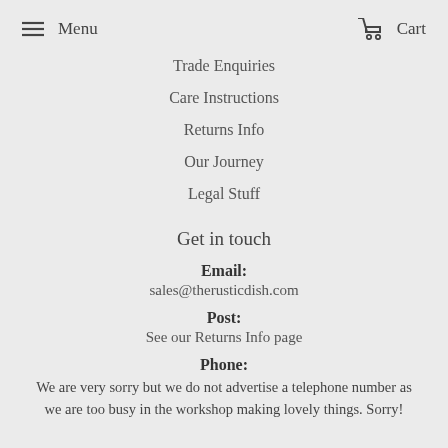Menu  Cart
Trade Enquiries
Care Instructions
Returns Info
Our Journey
Legal Stuff
Get in touch
Email:
sales@therusticdish.com
Post:
See our Returns Info page
Phone:
We are very sorry but we do not advertise a telephone number as we are too busy in the workshop making lovely things. Sorry!